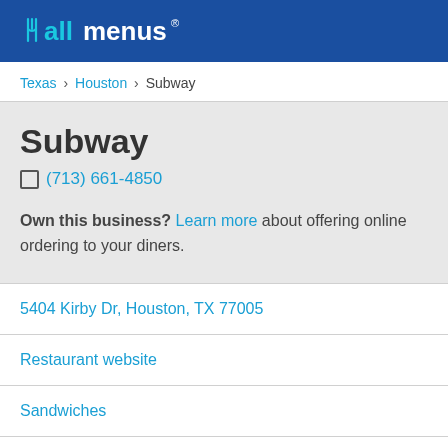allmenus
Texas > Houston > Subway
Subway
(713) 661-4850
Own this business? Learn more about offering online ordering to your diners.
5404 Kirby Dr, Houston, TX 77005
Restaurant website
Sandwiches